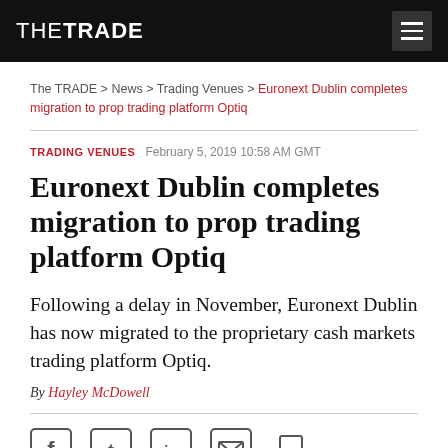THE TRADE
The TRADE > News > Trading Venues > Euronext Dublin completes migration to prop trading platform Optiq
TRADING VENUES   February 5, 2019 10:58 AM GMT
Euronext Dublin completes migration to prop trading platform Optiq
Following a delay in November, Euronext Dublin has now migrated to the proprietary cash markets trading platform Optiq.
By Hayley McDowell
[Figure (infographic): Social sharing icons: Facebook, Twitter, LinkedIn, Email, Print]